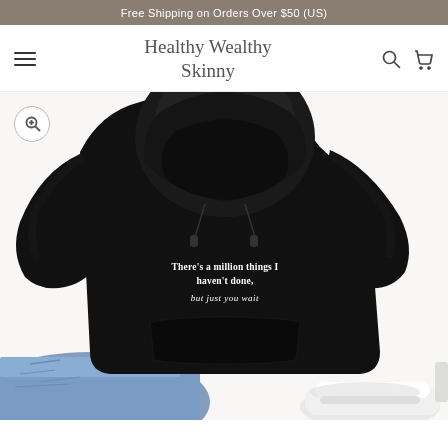Free Shipping on Orders Over $50 (US)
Healthy Wealthy Skinny
[Figure (photo): Black hoodie sweatshirt laid flat, showing back with text: 'There's a million things I haven't done, but just you wait'. Worn with blue denim jeans and white sneakers visible at bottom.]